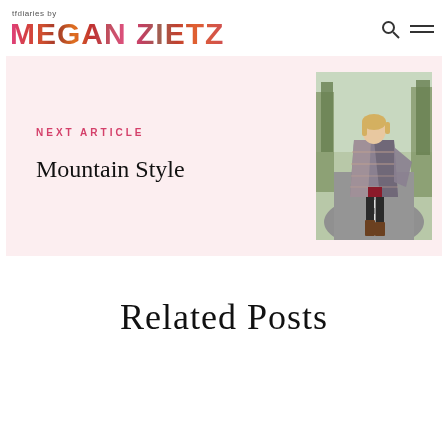tfdiaries by MEGAN ZIETZ
NEXT ARTICLE
Mountain Style
[Figure (photo): Woman standing on a road wearing a patterned wrap/poncho, leggings, and knee-high boots, outdoors with trees in background]
Related Posts